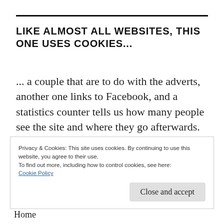LIKE ALMOST ALL WEBSITES, THIS ONE USES COOKIES...
... a couple that are to do with the adverts, another one links to Facebook, and a statistics counter tells us how many people see the site and where they go afterwards. Hopefully they won't give cause for concern, and you will signal your agreement by continuing to use
Privacy & Cookies: This site uses cookies. By continuing to use this website, you agree to their use.
To find out more, including how to control cookies, see here:
Cookie Policy
Close and accept
Home